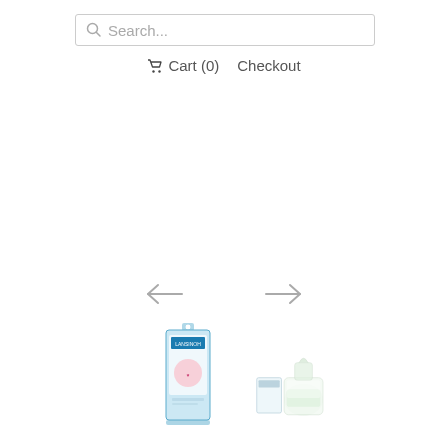[Figure (screenshot): Search bar with magnifying glass icon and placeholder text 'Search...']
🛒 Cart (0)   Checkout
[Figure (other): Left arrow navigation control (←)]
[Figure (other): Right arrow navigation control (→)]
[Figure (photo): Product thumbnail 1 - small boxed product item (appears to be a baby/health product in blue packaging)]
[Figure (photo): Product thumbnail 2 - baby bottle or similar feeding product in clear/white packaging]